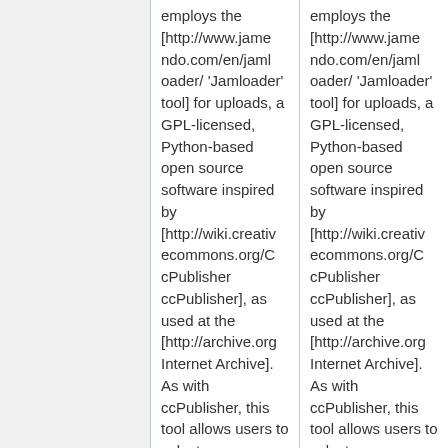employs the [http://www.jamendo.com/en/jamloader/ 'Jamloader' tool] for uploads, a GPL-licensed, Python-based open source software inspired by [http://wiki.creativecommons.org/CcPublisher ccPublisher], as used at the [http://archive.org Internet Archive].  As with ccPublisher, this tool allows users to select an appropriate
employs the [http://www.jamendo.com/en/jamloader/ 'Jamloader' tool] for uploads, a GPL-licensed, Python-based open source software inspired by [http://wiki.creativecommons.org/CcPublisher ccPublisher], as used at the [http://archive.org Internet Archive].  As with ccPublisher, this tool allows users to select an appropriate